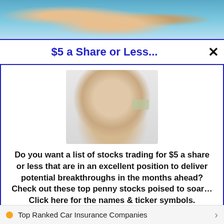[Figure (photo): Swimming photo at top of page, showing a swimmer in water with splashing]
$5 a Share or Less...
[Figure (photo): Photo of a middle-aged man with hand raised and holding a dollar bill, on gray background]
Do you want a list of stocks trading for $5 a share or less that are in an excellent position to deliver potential breakthroughs in the months ahead? Check out these top penny stocks poised to soar… Click here for the names & ticker symbols.
>>> See The List <<<
Top Ranked Car Insurance Companies